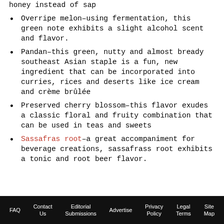Overripe melon–using fermentation, this green note exhibits a slight alcohol scent and flavor.
Pandan–this green, nutty and almost bready southeast Asian staple is a fun, new ingredient that can be incorporated into curries, rices and deserts like ice cream and crème brûlée
Preserved cherry blossom–this flavor exudes a classic floral and fruity combination that can be used in teas and sweets
Sassafras root–a great accompaniment for beverage creations, sassafrass root exhibits a tonic and root beer flavor.
FAQ  Contact Us  Editorial Submissions  Advertise  Privacy Policy  Legal Terms  Site Map